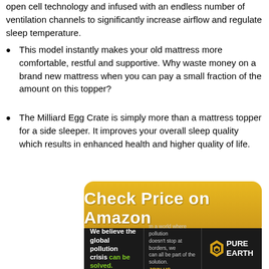open cell technology and infused with an endless number of ventilation channels to significantly increase airflow and regulate sleep temperature.
This model instantly makes your old mattress more comfortable, restful and supportive. Why waste money on a brand new mattress when you can pay a small fraction of the amount on this topper?
The Milliard Egg Crate is simply more than a mattress topper for a side sleeper. It improves your overall sleep quality which results in enhanced health and higher quality of life.
[Figure (other): Yellow rounded button with text 'Check Price on Amazon']
[Figure (other): Pure Earth advertisement banner with text about global pollution crisis]